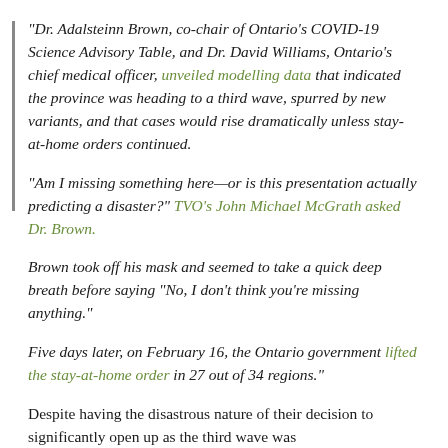“Dr. Adalsteinn Brown, co-chair of Ontario’s COVID-19 Science Advisory Table, and Dr. David Williams, Ontario’s chief medical officer, unveiled modelling data that indicated the province was heading to a third wave, spurred by new variants, and that cases would rise dramatically unless stay-at-home orders continued.
“Am I missing something here—or is this presentation actually predicting a disaster?” TVO’s John Michael McGrath asked Dr. Brown.
Brown took off his mask and seemed to take a quick deep breath before saying “No, I don’t think you’re missing anything.”
Five days later, on February 16, the Ontario government lifted the stay-at-home order in 27 out of 34 regions.”
Despite having the disastrous nature of their decision to significantly open up as the third wave was